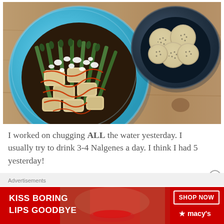[Figure (photo): Overhead food photo showing two bowls on a wooden table: a light blue bowl with grilled chicken pieces, asparagus, red sauce drizzle and white cheese crumbles on the left; a dark navy bowl with round crackers on the upper right.]
I worked on chugging ALL the water yesterday. I usually try to drink 3-4 Nalgenes a day. I think I had 5 yesterday!
Advertisements
[Figure (photo): Macy's advertisement banner with red background showing a woman's face close-up with red lipstick. Text reads: KISS BORING LIPS GOODBYE on the left, SHOP NOW button and macys logo with star on the right.]